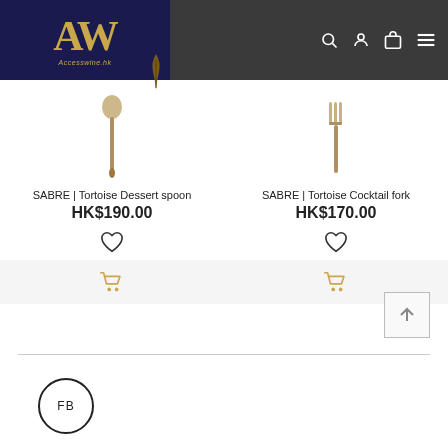[Figure (screenshot): E-commerce website header with AW (Accesswine.hk) logo on dark navy background, and navigation icons (search, user, cart, menu) on dark grey background]
SABRE | Tortoise Dessert spoon
HK$190.00
SABRE | Tortoise Cocktail fork
HK$170.00
[Figure (illustration): FB circle logo at bottom left]